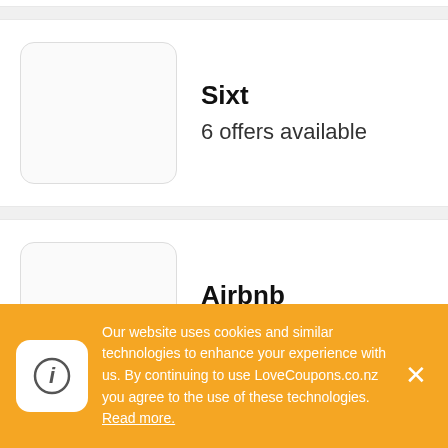Sixt
6 offers available
Airbnb
5 offers available
Aunt Betty
7 offers available
Our website uses cookies and similar technologies to enhance your experience with us. By continuing to use LoveCoupons.co.nz you agree to the use of these technologies. Read more.